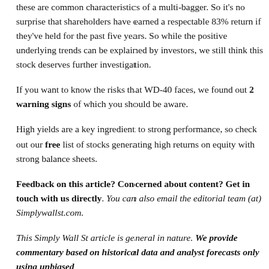these are common characteristics of a multi-bagger. So it's no surprise that shareholders have earned a respectable 83% return if they've held for the past five years. So while the positive underlying trends can be explained by investors, we still think this stock deserves further investigation.
If you want to know the risks that WD-40 faces, we found out 2 warning signs of which you should be aware.
High yields are a key ingredient to strong performance, so check out our free list of stocks generating high returns on equity with strong balance sheets.
Feedback on this article? Concerned about content? Get in touch with us directly. You can also email the editorial team (at) Simplywallst.com.
This Simply Wall St article is general in nature. We provide commentary based on historical data and analyst forecasts only using unbiased